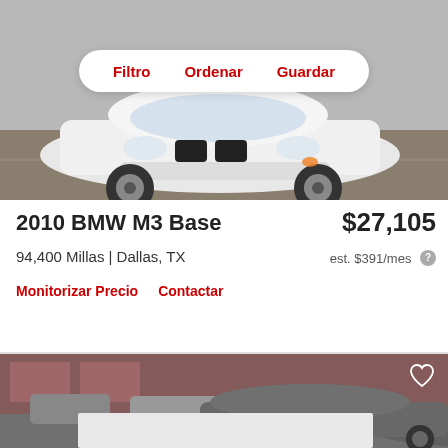[Figure (photo): White BMW M3 front view in a parking lot, with filter/sort/save overlay bar at top]
2010 BMW M3 Base
$27,105
94,400 Millas | Dallas, TX
est. $391/mes
Monitorizar Precio    Contactar
[Figure (photo): Gray car at a dealership lot viewed from the side, with a heart/favorite icon in the upper right]